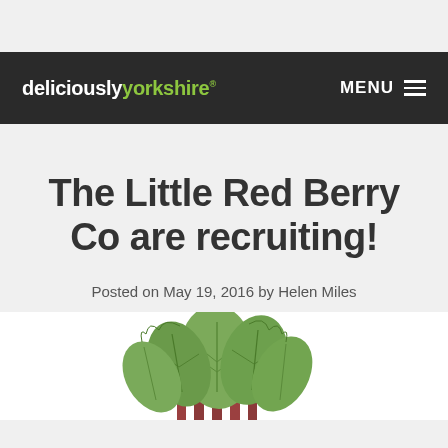deliciouslyorkshire® MENU
The Little Red Berry Co are recruiting!
Posted on May 19, 2016 by Helen Miles
[Figure (illustration): Illustration of rhubarb plant with large green leaves and red stalks, partially visible at bottom of page]